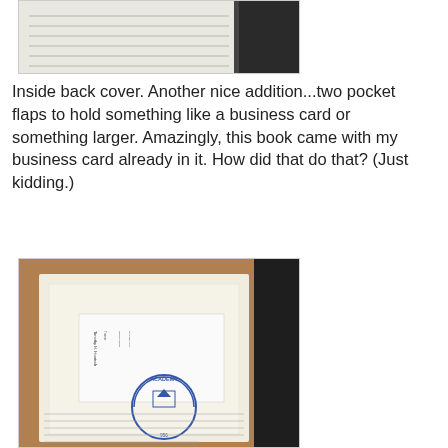[Figure (photo): Top portion of a photo showing the inside back cover of a notebook with lined pages and a dark spine visible]
Inside back cover. Another nice addition...two pocket flaps to hold something like a business card or something larger. Amazingly, this book came with my business card already in it. How did that do that? (Just kidding.)
[Figure (photo): Photo of inside back cover of a notebook showing pocket flaps holding a business card. The business card appears to belong to Timothy H. Hoatsch and has a blue circular academy stamp/logo at the bottom.]